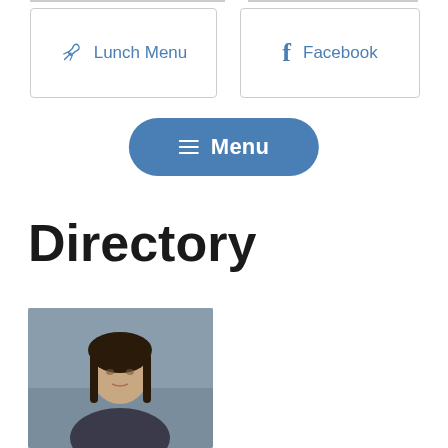[Figure (other): Lunch Menu link box with carrot icon and text 'Lunch Menu' in blue]
[Figure (other): Facebook link box with Facebook 'f' icon and text 'Facebook' in blue]
[Figure (other): Blue rounded Menu button with hamburger icon and bold text 'Menu']
Directory
[Figure (photo): Headshot photo of a woman with dark hair against a gray background]